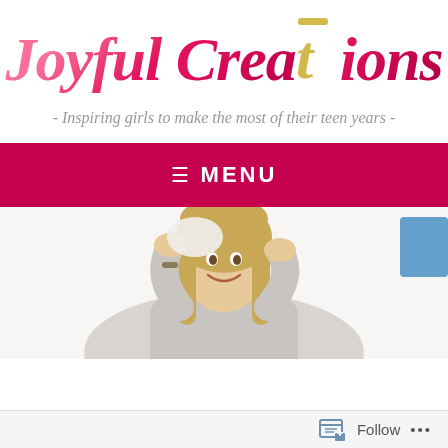Joyful Creations
- Inspiring girls to make the most of their teen years -
≡  MENU
[Figure (photo): Smiling teenage girl with long blonde hair holding her hands up near her head, wearing a grey long-sleeve shirt, light background]
Follow ...